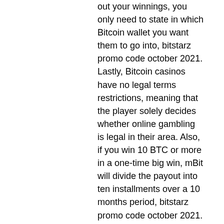out your winnings, you only need to state in which Bitcoin wallet you want them to go into, bitstarz promo code october 2021. Lastly, Bitcoin casinos have no legal terms restrictions, meaning that the player solely decides whether online gambling is legal in their area. Also, if you win 10 BTC or more in a one-time big win, mBit will divide the payout into ten installments over a 10 months period, bitstarz promo code october 2021. About 7 Bit Casino: On top of a 5BTC plus 100 FREE SPINS welcome bonus, 7Bit Casino is our best bet for winning money with lots of recurring added value promotions including a weekly Monday reload bonus, daily 5-15% cash back on previous day's losses when you make a deposit, weekly weekend cashback paid out on Mondays up to 20%, and 100 free spins every Wednesday if you make a '50 deposit, bitstarz de. This is one of the most profitable bitcoin taps, bitstarz зеркало казино. This